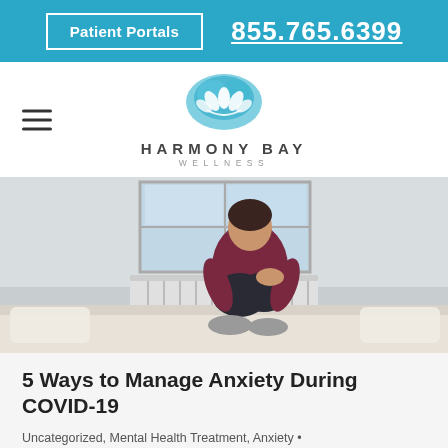Patient Portals  855.765.6399
[Figure (logo): Harmony Bay Wellness logo with lotus flower on blue watercolor background, text HARMONY BAY WELLNESS]
[Figure (photo): Person sitting on a bed hugging their knees, wearing a burgundy top and dark pants with grey socks, near a window with a radiator]
5 Ways to Manage Anxiety During COVID-19
Uncategorized, Mental Health Treatment, Anxiety • By Harmony Bay Wellness • April 16, 2020 • Leave a comment